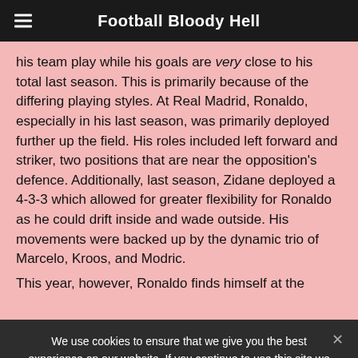Football Bloody Hell
his team play while his goals are very close to his total last season. This is primarily because of the differing playing styles. At Real Madrid, Ronaldo, especially in his last season, was primarily deployed further up the field. His roles included left forward and striker, two positions that are near the opposition's defence. Additionally, last season, Zidane deployed a 4-3-3 which allowed for greater flexibility for Ronaldo as he could drift inside and wade outside. His movements were backed up by the dynamic trio of Marcelo, Kroos, and Modric. This year, however, Ronaldo finds himself at the
We use cookies to ensure that we give you the best experience on our website. If you continue to use this site we will assume that you are happy with it.